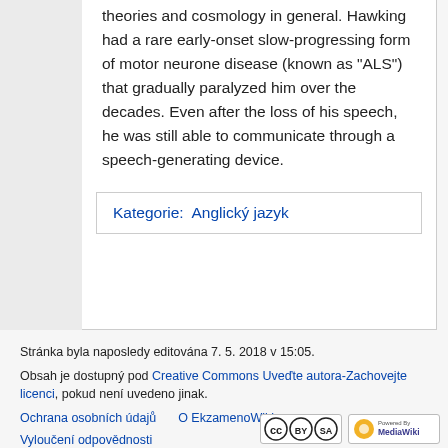theories and cosmology in general. Hawking had a rare early-onset slow-progressing form of motor neurone disease (known as "ALS") that gradually paralyzed him over the decades. Even after the loss of his speech, he was still able to communicate through a speech-generating device.
Kategorie:  Anglický jazyk
Stránka byla naposledy editována 7. 5. 2018 v 15:05.
Obsah je dostupný pod Creative Commons Uveďte autora-Zachovejte licenci, pokud není uvedeno jinak.
Ochrana osobních údajů    O EkzamenoWiki
Vyloučení odpovědnosti